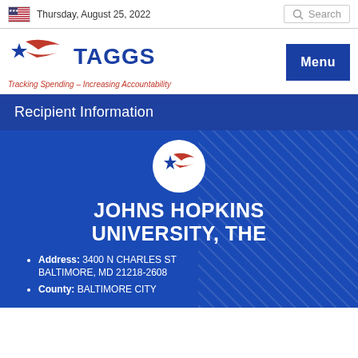Thursday, August 25, 2022
[Figure (logo): TAGGS logo with star and swoosh design, blue and red colors. Text: TAGGS. Tagline: Tracking Spending – Increasing Accountability]
Recipient Information
[Figure (logo): TAGGS circular logo on blue background]
JOHNS HOPKINS UNIVERSITY, THE
Address: 3400 N CHARLES ST BALTIMORE, MD 21218-2608
County: BALTIMORE CITY